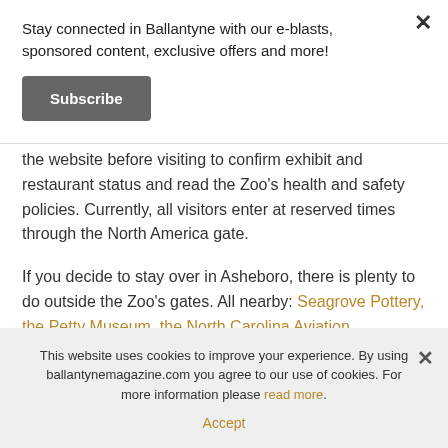Stay connected in Ballantyne with our e-blasts, sponsored content, exclusive offers and more!
Subscribe
the website before visiting to confirm exhibit and restaurant status and read the Zoo's health and safety policies. Currently, all visitors enter at reserved times through the North America gate.
If you decide to stay over in Asheboro, there is plenty to do outside the Zoo's gates. All nearby: Seagrove Pottery, the Petty Museum, the North Carolina Aviation
This website uses cookies to improve your experience. By using ballantynemagazine.com you agree to our use of cookies. For more information please read more.
Accept